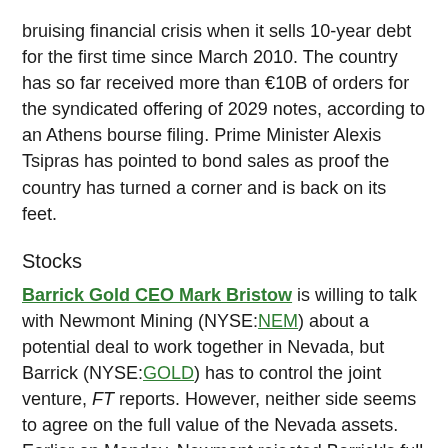bruising financial crisis when it sells 10-year debt for the first time since March 2010. The country has so far received more than €10B of orders for the syndicated offering of 2029 notes, according to an Athens bourse filing. Prime Minister Alexis Tsipras has pointed to bond sales as proof the country has turned a corner and is back on its feet.
Stocks
Barrick Gold CEO Mark Bristow is willing to talk with Newmont Mining (NYSE:NEM) about a potential deal to work together in Nevada, but Barrick (NYSE:GOLD) has to control the joint venture, FT reports. However, neither side seems to agree on the full value of the Nevada assets. Earlier on Monday, Newmont rejected Barrick's full buyout offer and reiterated its plans to go ahead with its deal to buy smaller rival Goldcorp (NYSE:GG).
Direct air capture technology? The world's biggest coking